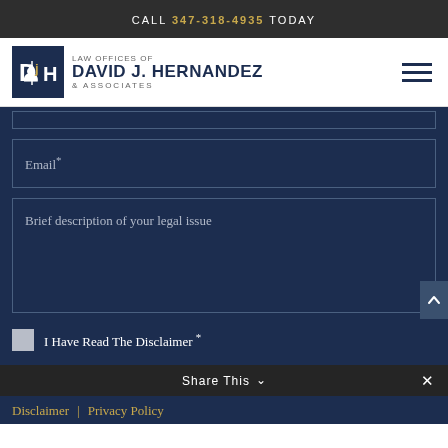CALL 347-318-4935 TODAY
[Figure (logo): Law Offices of David J. Hernandez & Associates logo with DJH monogram icon]
Email*
Brief description of your legal issue
I Have Read The Disclaimer *
Share This
Disclaimer | Privacy Policy